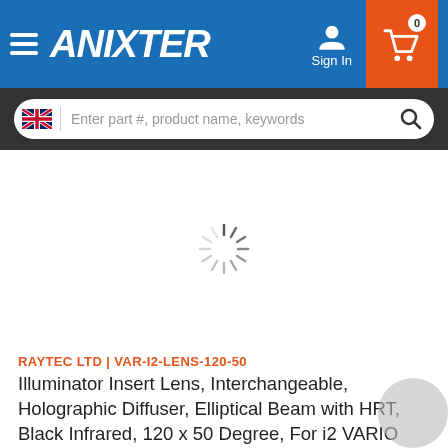[Figure (screenshot): Anixter website navigation bar with hamburger menu, Anixter logo, Sign In button and shopping cart with 0 items]
[Figure (screenshot): Search bar with UK flag icon and placeholder text 'Enter part #, product name, keywords' with search button]
[Figure (screenshot): Loading spinner in center of white area indicating content is loading]
RAYTEC LTD | VAR-I2-LENS-120-50
Illuminator Insert Lens, Interchangeable, Holographic Diffuser, Elliptical Beam with HRT, Black Infrared, 120 x 50 Degree, For i2 VARIO Illuminator